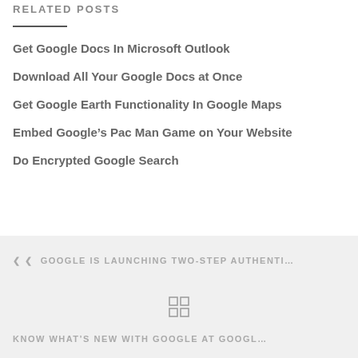RELATED POSTS
Get Google Docs In Microsoft Outlook
Download All Your Google Docs at Once
Get Google Earth Functionality In Google Maps
Embed Google’s Pac Man Game on Your Website
Do Encrypted Google Search
❮ GOOGLE IS LAUNCHING TWO-STEP AUTHENTI…
[Figure (other): Grid/home navigation icon made of four small squares]
KNOW WHAT’S NEW WITH GOOGLE AT GOOGL… ❯